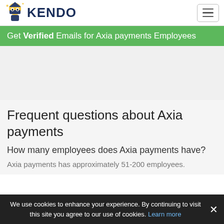KENDO
Get Verified Emails for Axia payments Employees
Frequent questions about Axia payments
How many employees does Axia payments have?
Axia payments has approximately 51-200 employees.
We use cookies to enhance your experience. By continuing to visit this site you agree to our use of cookies. Learn more